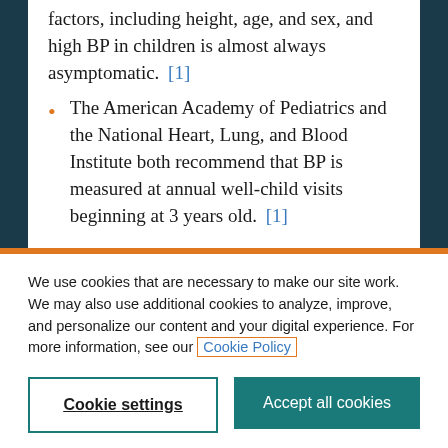factors, including height, age, and sex, and high BP in children is almost always asymptomatic. [1]
The American Academy of Pediatrics and the National Heart, Lung, and Blood Institute both recommend that BP is measured at annual well-child visits beginning at 3 years old. [1]
We use cookies that are necessary to make our site work. We may also use additional cookies to analyze, improve, and personalize our content and your digital experience. For more information, see our Cookie Policy
Cookie settings
Accept all cookies